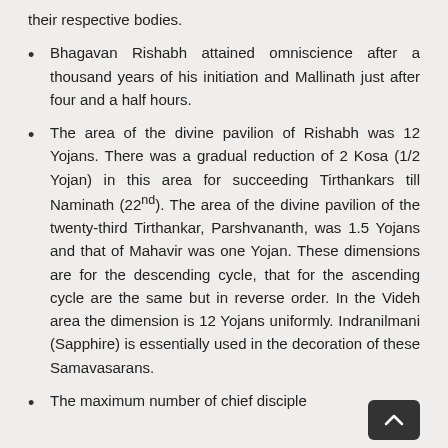their respective bodies.
Bhagavan Rishabh attained omniscience after a thousand years of his initiation and Mallinath just after four and a half hours.
The area of the divine pavilion of Rishabh was 12 Yojans. There was a gradual reduction of 2 Kosa (1/2 Yojan) in this area for succeeding Tirthankars till Naminath (22nd). The area of the divine pavilion of the twenty-third Tirthankar, Parshvananth, was 1.5 Yojans and that of Mahavir was one Yojan. These dimensions are for the descending cycle, that for the ascending cycle are the same but in reverse order. In the Videh area the dimension is 12 Yojans uniformly. Indranilmani (Sapphire) is essentially used in the decoration of these Samavasarans.
The maximum number of chief disciples was one